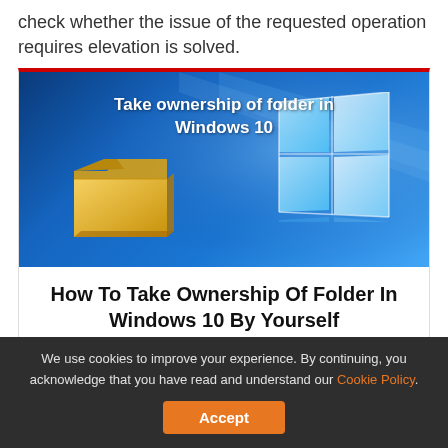check whether the issue of the requested operation requires elevation is solved.
[Figure (screenshot): Screenshot thumbnail showing 'Take ownership of folder in Windows 10' with a yellow folder icon on a blue Windows 10 background with the Windows logo]
How To Take Ownership Of Folder In Windows 10 By Yourself
We use cookies to improve your experience. By continuing, you acknowledge that you have read and understand our Cookie Policy. Accept